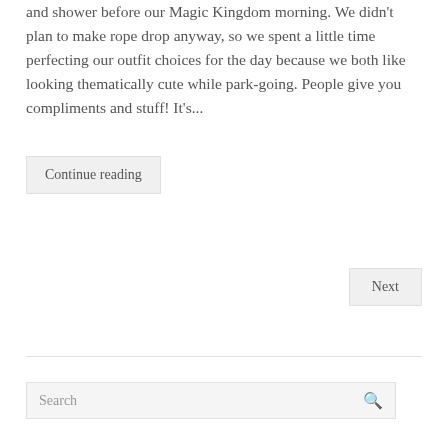and shower before our Magic Kingdom morning. We didn't plan to make rope drop anyway, so we spent a little time perfecting our outfit choices for the day because we both like looking thematically cute while park-going. People give you compliments and stuff! It's...
Continue reading
Next
Search